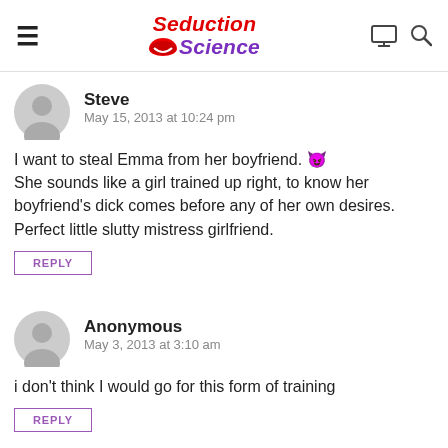Seduction Science
Steve
May 15, 2013 at 10:24 pm
I want to steal Emma from her boyfriend. 😈 She sounds like a girl trained up right, to know her boyfriend's dick comes before any of her own desires. Perfect little slutty mistress girlfriend.
Anonymous
May 3, 2013 at 3:10 am
i don't think I would go for this form of training
El